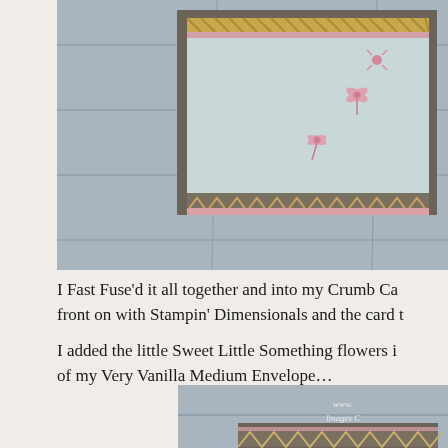[Figure (photo): Top portion: A handmade greeting card displayed on a weathered gray wood background. The card features a brown/taupe base with a pink and gold chevron/zigzag patterned border, a light blue-green center panel with small pink flower/dragonfly stamps, and a diagonal striped ribbon accent.]
I Fast Fuse'd it all together and into my Crumb Ca front on with Stampin' Dimensionals and the card t
I added the little Sweet Little Something flowers i of my Very Vanilla Medium Envelope...
[Figure (photo): Bottom portion: Another view of the handmade card on the same weathered wood background. Shows the chevron/zigzag pattern border in pink and olive/brown tones. Watermark text visible: www. and Images C]